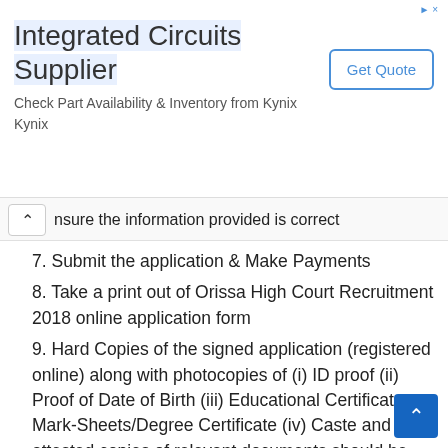[Figure (screenshot): Advertisement banner for Integrated Circuits Supplier - Kynix, with Get Quote button]
nsure the information provided is correct
7. Submit the application & Make Payments
8. Take a print out of Orissa High Court Recruitment 2018 online application form
9. Hard Copies of the signed application (registered online) along with photocopies of (i) ID proof (ii) Proof of Date of Birth (iii) Educational Certificates: Mark-Sheets/Degree Certificate (iv) Caste and attested copies of relevant documents should be addressed to “Office of the Registrar General, Orissa High Court, Cuttack” by post so as to reach us by 03.09.2018. Envelope must be super-scribed with “APPLICATION FOR THE POST